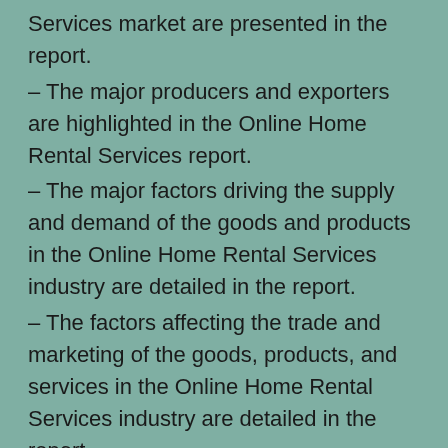Services market are presented in the report.
– The major producers and exporters are highlighted in the Online Home Rental Services report.
– The major factors driving the supply and demand of the goods and products in the Online Home Rental Services industry are detailed in the report.
– The factors affecting the trade and marketing of the goods, products, and services in the Online Home Rental Services industry are detailed in the report.
– The performance of the individual segment in the context of the pandemic is included in the